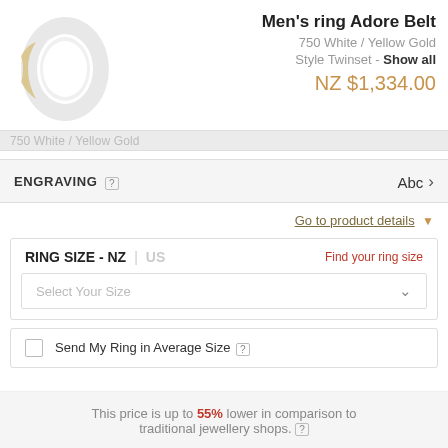[Figure (photo): Men's ring Adore Belt in 750 White/Yellow Gold, shown at an angle]
Men's ring Adore Belt
750 White / Yellow Gold
Style Twinset - Show all
NZ $1,334.00
750 White / Yellow Gold
ENGRAVING [?]
Abc >
Go to product details ▼
RING SIZE - NZ | US
Find your ring size
Select Your Size
Send My Ring in Average Size [?]
This price is up to 55% lower in comparison to traditional jewellery shops. [?]